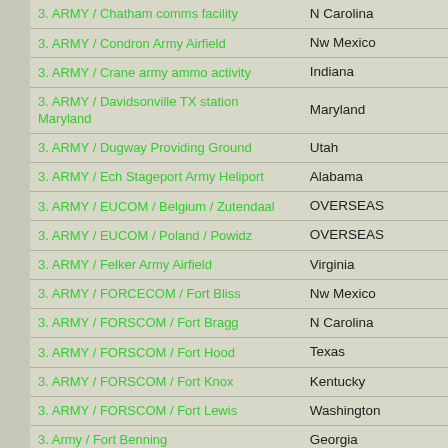| Facility | State |
| --- | --- |
| 3. ARMY / Chatham comms facility | N Carolina |
| 3. ARMY / Condron Army Airfield | Nw Mexico |
| 3. ARMY / Crane army ammo activity | Indiana |
| 3. ARMY / Davidsonville TX station Maryland | Maryland |
| 3. ARMY / Dugway Providing Ground | Utah |
| 3. ARMY / Ech Stageport Army Heliport | Alabama |
| 3. ARMY / EUCOM / Belgium / Zutendaal | OVERSEAS |
| 3. ARMY / EUCOM / Poland / Powidz | OVERSEAS |
| 3. ARMY / Felker Army Airfield | Virginia |
| 3. ARMY / FORCECOM / Fort Bliss | Nw Mexico |
| 3. ARMY / FORSCOM / Fort Bragg | N Carolina |
| 3. ARMY / FORSCOM / Fort Hood | Texas |
| 3. ARMY / FORSCOM / Fort Knox | Kentucky |
| 3. ARMY / FORSCOM / Fort Lewis | Washington |
| 3. Army / Fort Benning | Georgia |
| 3. ARMY / Fort Buchanan | Puerto Rico |
| 3. ARMY / Fort Campbell | Kentucky |
| 3. ARMY / Fort Carson | Colorado |